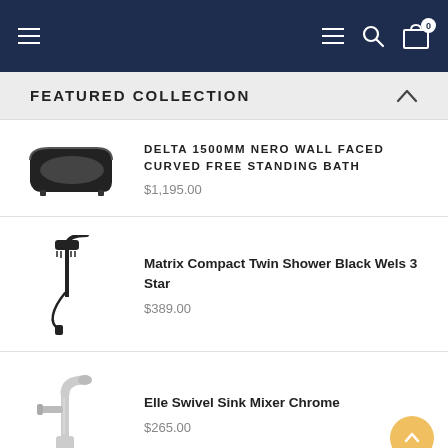Navigation bar with hamburger menu, search, and cart icons
FEATURED COLLECTION
DELTA 1500MM NERO WALL FACED CURVED FREE STANDING BATH — $1,195.00
Matrix Compact Twin Shower Black Wels 3 Star — $389.00
Elle Swivel Sink Mixer Chrome — $265.00